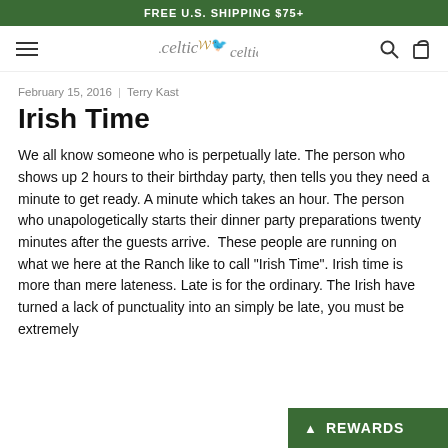FREE U.S. SHIPPING $75+
[Figure (logo): Celtic Lucky logo with dot, italic celtic text, and a small golden bird illustration]
February 15, 2016 | Terry Kast
Irish Time
We all know someone who is perpetually late. The person who shows up 2 hours to their birthday party, then tells you they need a minute to get ready. A minute which takes an hour. The person who unapologetically starts their dinner party preparations twenty minutes after the guests arrive.  These people are running on what we here at the Ranch like to call "Irish Time". Irish time is more than mere lateness. Late is for the ordinary. The Irish have turned a lack of punctuality into an simply be late, you must be extremely